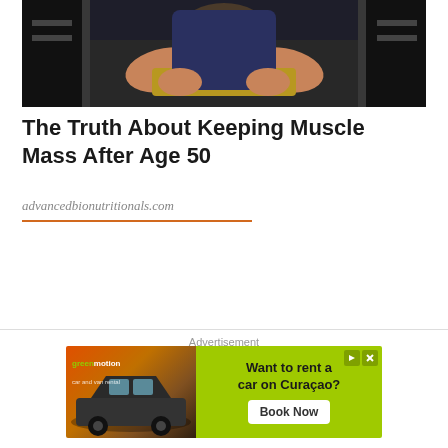[Figure (photo): Person in a gym with muscular arms and a weightlifting belt, working out with gym equipment in the background]
The Truth About Keeping Muscle Mass After Age 50
advancedbionutritionals.com
Advertisement
[Figure (photo): GreenMotion car and van rental advertisement banner with text 'Want to rent a car on Curaçao? Book Now']